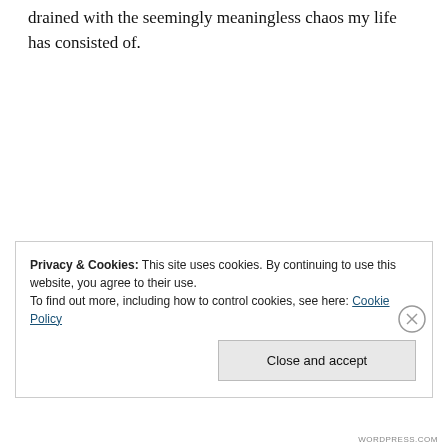drained with the seemingly meaningless chaos my life has consisted of.
ii.
Privacy & Cookies: This site uses cookies. By continuing to use this website, you agree to their use.
To find out more, including how to control cookies, see here: Cookie Policy
Close and accept
WORDPRESS.COM